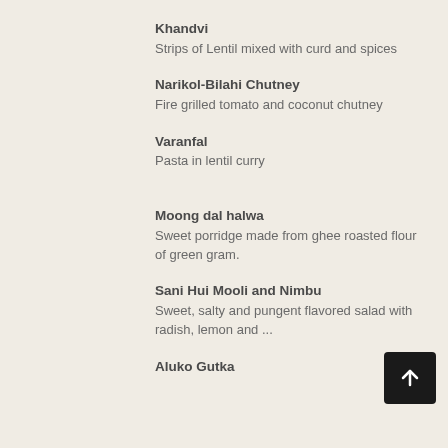Khandvi
Strips of Lentil mixed with curd and spices
Narikol-Bilahi Chutney
Fire grilled tomato and coconut chutney
Varanfal
Pasta in lentil curry
Moong dal halwa
Sweet porridge made from ghee roasted flour of green gram.
Sani Hui Mooli and Nimbu
Sweet, salty and pungent flavored salad with radish, lemon and ...
Aluko Gutka